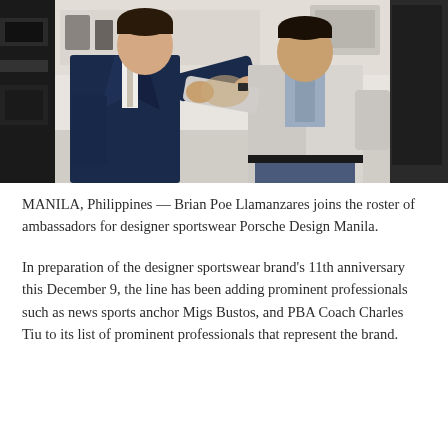[Figure (photo): Two men shaking hands in a retail store setting. The man on the left wears a dark navy suit with a white shirt and tie. The man on the right wears a light grey jacket and jeans. Store shelving and display cases visible in the background.]
MANILA, Philippines — Brian Poe Llamanzares joins the roster of ambassadors for designer sportswear Porsche Design Manila.
In preparation of the designer sportswear brand's 11th anniversary this December 9, the line has been adding prominent professionals such as news sports anchor Migs Bustos, and PBA Coach Charles Tiu to its list of prominent professionals that represent the brand.